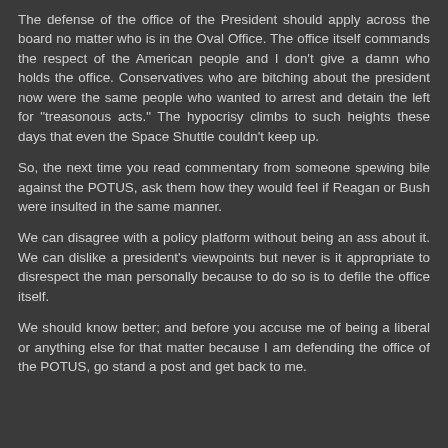The defense of the office of the President should apply across the board no matter who is in the Oval Office. The office itself commands the respect of the American people and I don't give a damn who holds the office. Conservatives who are bitching about the president now were the same people who wanted to arrest and detain the left for "treasonous acts." The hypocrisy climbs to such heights these days that even the Space Shuttle couldn't keep up.
So, the next time you read commentary from someone spewing bile against the POTUS, ask them how they would feel if Reagan or Bush were insulted in the same manner.
We can disagree with a policy platform without being an ass about it. We can dislike a president's viewpoints but never is it appropriate to disrespect the man personally because to do so is to defile the office itself.
We should know better; and before you accuse me of being a liberal or anything else for that matter because I am defending the office of the POTUS, go stand a post and get back to me.